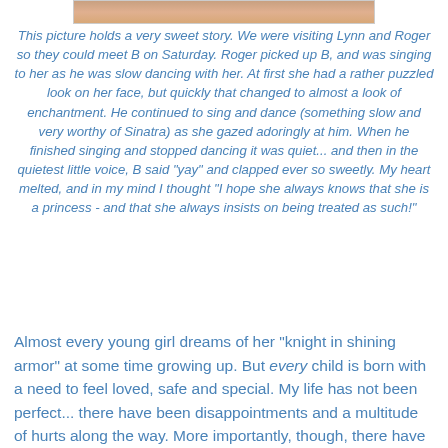[Figure (photo): Partial photo strip visible at the top of the page showing people]
This picture holds a very sweet story.  We were visiting Lynn and Roger so they could meet B on Saturday.  Roger picked up B, and was singing to her as he was slow dancing with her.  At first she had a rather puzzled look on her face, but quickly that changed to almost a look of enchantment.  He continued to sing and dance (something slow and very worthy of Sinatra) as she gazed adoringly at him.  When he finished singing and stopped dancing it was quiet... and then in the quietest little voice, B said "yay" and clapped ever so sweetly.  My heart melted, and in my mind I thought "I hope she always knows that she is a princess - and that she always insists on being treated as such!"
Almost every young girl dreams of her "knight in shining armor" at some time growing up.  But every child is born with a need to feel loved, safe and special.  My life has not been perfect... there have been disappointments and a multitude of hurts along the way.  More importantly, though, there have been